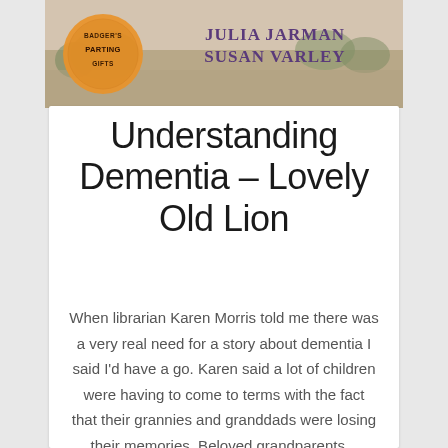[Figure (photo): Top portion of a book cover showing 'Badger's Parting Gifts' badge/seal on the left, authors 'JULIA JARMAN' and 'SUSAN VARLEY' in purple text on the right, with a soft natural background scene.]
Understanding Dementia – Lovely Old Lion
When librarian Karen Morris told me there was a very real need for a story about dementia I said I'd have a go. Karen said a lot of children were having to come to terms with the fact that their grannies and granddads were losing their memories. Beloved grandparents...